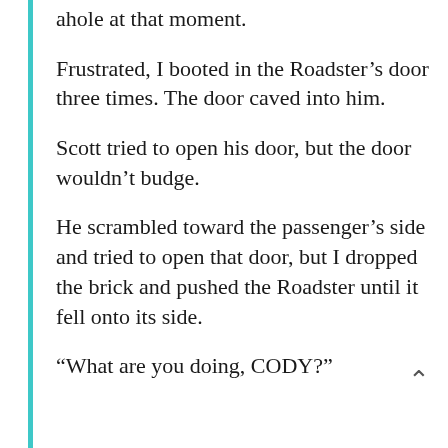ahole at that moment.
Frustrated, I booted in the Roadster’s door three times. The door caved into him.
Scott tried to open his door, but the door wouldn’t budge.
He scrambled toward the passenger’s side and tried to open that door, but I dropped the brick and pushed the Roadster until it fell onto its side.
“What are you doing, CODY?”